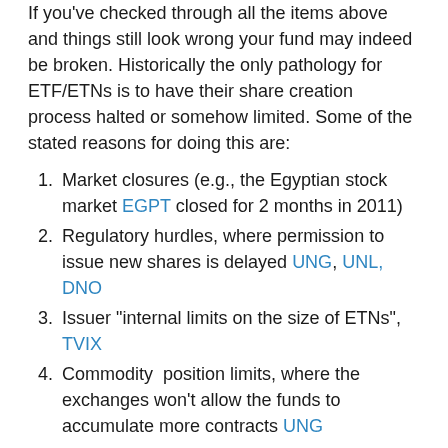If you've checked through all the items above and things still look wrong your fund may indeed be broken.  Historically the only pathology for ETF/ETNs is to have their share creation process halted or somehow limited.  Some of the stated reasons for doing this are:
Market closures (e.g., the Egyptian stock market EGPT closed for 2 months in 2011)
Regulatory hurdles, where permission to issue new shares is delayed UNG, UNL, DNO
Issuer “internal limits on the size of ETNs”, TVIX
Commodity  position limits, where the exchanges won’t allow the funds to accumulate more contracts UNG
Self-imposed market cap limits AMJ
In all these cases the share redemption process has been left intact.  In practice, if share creation